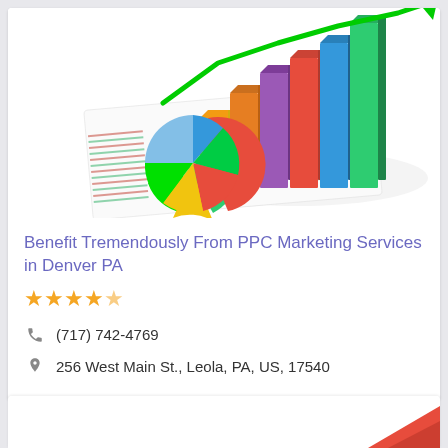[Figure (illustration): 3D illustration of colorful bar chart with rising green line chart overlay and colorful pie chart on white paper sheets, depicting financial/marketing data visualization]
Benefit Tremendously From PPC Marketing Services in Denver PA
★★★★★ (4.5 stars)
(717) 742-4769
256 West Main St., Leola, PA, US, 17540
[Figure (illustration): Partial red arrow or graphic visible at bottom of page]